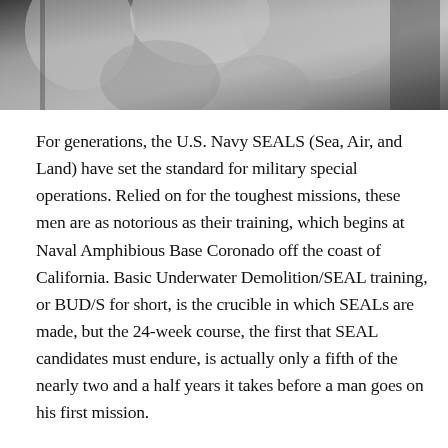[Figure (photo): Black and white photograph of Navy SEAL trainees, showing upper bodies/torsos in close cropped view]
For generations, the U.S. Navy SEALS (Sea, Air, and Land) have set the standard for military special operations. Relied on for the toughest missions, these men are as notorious as their training, which begins at Naval Amphibious Base Coronado off the coast of California. Basic Underwater Demolition/SEAL training, or BUD/S for short, is the crucible in which SEALs are made, but the 24-week course, the first that SEAL candidates must endure, is actually only a fifth of the nearly two and a half years it takes before a man goes on his first mission.